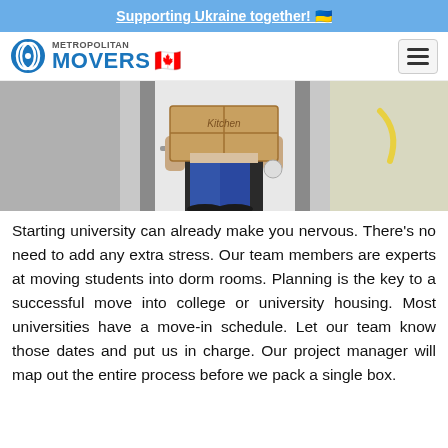Supporting Ukraine together! 🇺🇦
[Figure (logo): Metropolitan Movers logo with Canadian flag]
[Figure (photo): Person carrying a cardboard box labeled 'Kitchen' in a hallway or doorway]
Starting university can already make you nervous. There's no need to add any extra stress. Our team members are experts at moving students into dorm rooms. Planning is the key to a successful move into college or university housing. Most universities have a move-in schedule. Let our team know those dates and put us in charge. Our project manager will map out the entire process before we pack a single box.